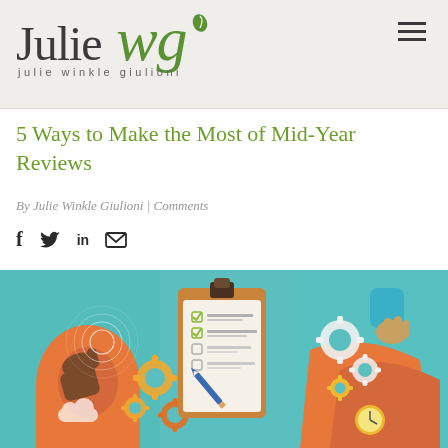Julie WG — julie winkle giulioni
5 Ways to Make the Most of Mid-Year Reviews
By Julie Winkle Giulioni | Comments
[Figure (illustration): Flat-style illustration showing two hands interacting with gears, a clipboard with a checklist and pencil, and orange speech-bubble shapes on a teal background — representing mid-year performance review concepts.]